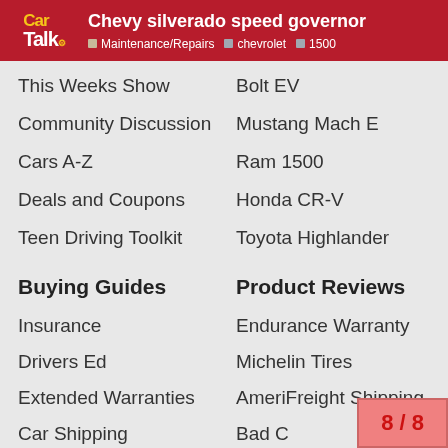Chevy silverado speed governor — Maintenance/Repairs · chevrolet · 1500
This Weeks Show
Bolt EV
Community Discussion
Mustang Mach E
Cars A-Z
Ram 1500
Deals and Coupons
Honda CR-V
Teen Driving Toolkit
Toyota Highlander
Buying Guides
Product Reviews
Insurance
Endurance Warranty
Drivers Ed
Michelin Tires
Extended Warranties
AmeriFreight Shipping
Car Shipping
Bad C[ard Credit]
8 / 8